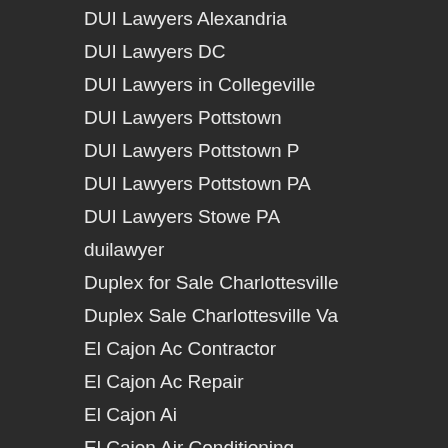DUI Lawyers Alexandria
DUI Lawyers DC
DUI Lawyers in Collegeville
DUI Lawyers Pottstown
DUI Lawyers Pottstown P
DUI Lawyers Pottstown PA
DUI Lawyers Stowe PA
duilawyer
Duplex for Sale Charlottesville
Duplex Sale Charlottesville Va
El Cajon Ac Contractor
El Cajon Ac Repair
El Cajon Ai
El Cajon Air Conditioning
El Cajon Air Conditioning Contractor
El Cajon Air Conditioning Installation
El Cajon Air Conditioning Service